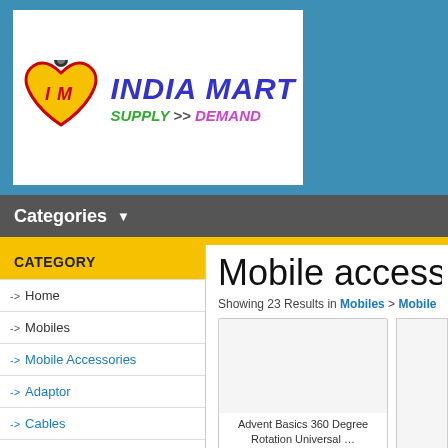[Figure (logo): IndiaMart Supply >> Demand logo with heart shape containing I and M letters]
Categories ▼
CATEGORY
--> Home
--> Mobiles
--> Mobile Accessories
--> Adaptor
--> Cables
--> Car Accessories
--> Car Kits
--> Chargers
--> External Cha...
Mobile access
Showing 23 Results in Mobiles > Mobile
Advent Basics 360 Degree Rotation Universal ...